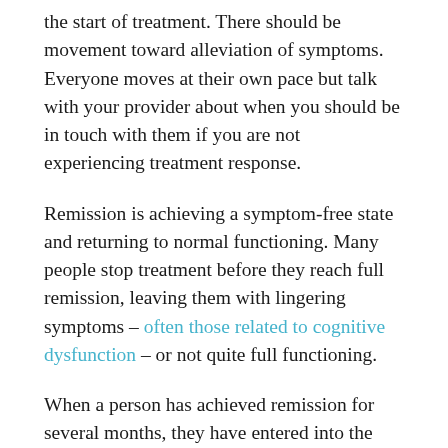the start of treatment. There should be movement toward alleviation of symptoms. Everyone moves at their own pace but talk with your provider about when you should be in touch with them if you are not experiencing treatment response.
Remission is achieving a symptom-free state and returning to normal functioning. Many people stop treatment before they reach full remission, leaving them with lingering symptoms – often those related to cognitive dysfunction – or not quite full functioning.
When a person has achieved remission for several months, they have entered into the recovery stage. This isn't a magic time that all treatment and supports should be abandoned, rather one that the person living with depression can expect to have a more